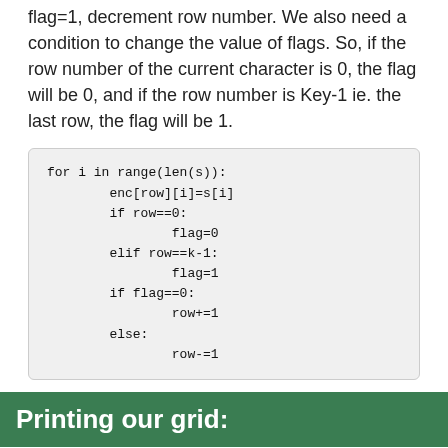flag=1, decrement row number. We also need a condition to change the value of flags. So, if the row number of the current character is 0, the flag will be 0, and if the row number is Key-1 ie. the last row, the flag will be 1.
for i in range(len(s)):
        enc[row][i]=s[i]
        if row==0:
                flag=0
        elif row==k-1:
                flag=1
        if flag==0:
                row+=1
        else:
                row-=1
Printing our grid:
At this point, we have filled in our plaintext